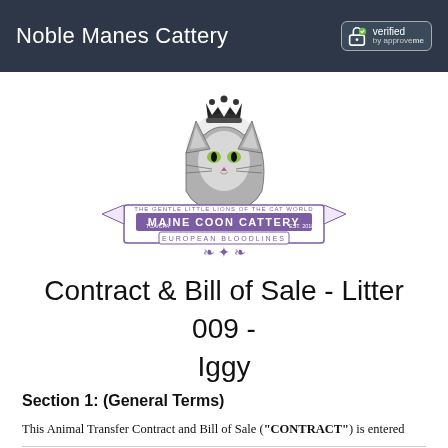Noble Manes Cattery
[Figure (logo): Maine Coon Cattery logo featuring a Maine Coon cat with a crown, with a banner reading 'THE GENTLE LITTLE LIONS OF THE CAT WORLD / MAINE COON CATTERY / TCA/CFA / EUROPEAN BLOODLINES / EST. 2018', decorative flourishes in purple and black]
Contract & Bill of Sale - Litter 009 - Iggy
Section 1: (General Terms)
This Animal Transfer Contract and Bill of Sale ("CONTRACT") is entered